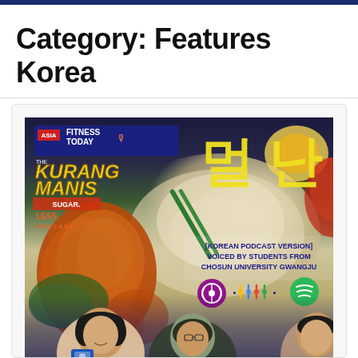Category: Features Korea
[Figure (photo): Magazine cover for Asia Fitness Today featuring 'The Kurang Manis Sugar Less Podcast' Korean version. Shows Korean text characters in yellow, fried chicken, rice, and food in background. Text reads '[KOREAN PODCAST VERSION] VOICED BY STUDENTS FROM CHOSUN UNIVERSITY GWANGJU' with podcast platform icons (Apple Podcasts, Google Podcasts, Spotify). Three people visible at bottom of image.]